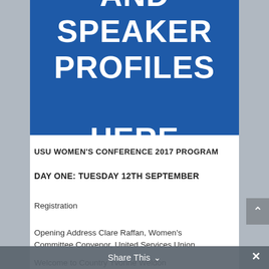AND SPEAKER PROFILES HERE
USU WOMEN'S CONFERENCE 2017 PROGRAM
DAY ONE: TUESDAY 12TH SEPTEMBER
Registration
Opening Address Clare Raffan, Women's Committee Convenor, United Services Union
Welcome to Country Yvonne Weldon